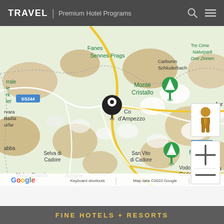TRAVEL | Premium Hotel Programs
[Figure (map): Google Maps view showing Cortina d'Ampezzo area in Italy, with location pin on Cortina d'Ampezzo, green mountain markers for Monte Cristallo and Monte Antelao, road labels SS244 and SS51, towns including Sennes Prags, Carbonin Schluderbach, Tre Cime Naturpark Drei Zinnen, Selva di Cadore, San Vito di Cadore, Vodo di Cadore, Alleghe, Malga Ciapela. Street View pegman and zoom controls visible. Google logo and map data 2022 Google attribution at bottom.]
FINE HOTELS + RESORTS